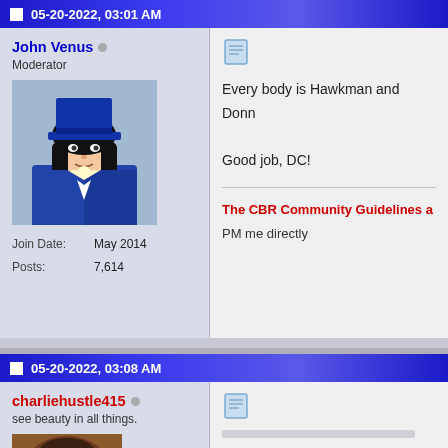05-20-2022, 03:01 AM
John Venus
Moderator
Join Date: May 2014
Posts: 7,614
[Figure (illustration): Avatar image of a cartoon character in a blue top hat and coat holding red and white popcorn]
Every body is Hawkman and Donn

Good job, DC!
The CBR Community Guidelines a
PM me directly
05-20-2022, 03:08 AM
charliehustle415
see beauty in all things.